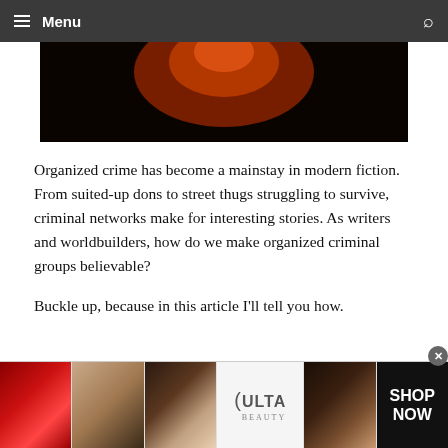Menu
[Figure (photo): Dark atmospheric image with reddish-orange glow against black background, partial view of a hero/header image]
Organized crime has become a mainstay in modern fiction. From suited-up dons to street thugs struggling to survive, criminal networks make for interesting stories. As writers and worldbuilders, how do we make organized criminal groups believable?
Buckle up, because in this article I’ll tell you how.
1.Mafias and Gangs
[Figure (photo): Ulta Beauty advertisement banner showing close-up beauty/makeup images: red lips, makeup brush, eye with eyeliner, Ulta Beauty logo, eye with smoky makeup, and SHOP NOW text on black background]